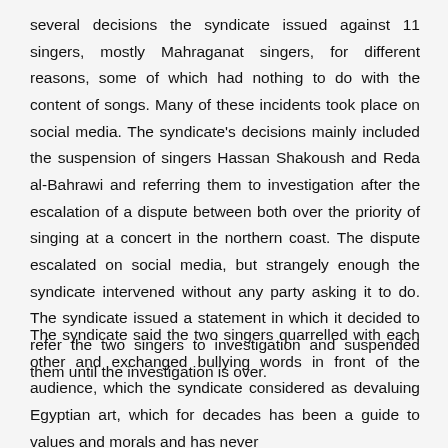several decisions the syndicate issued against 11 singers, mostly Mahraganat singers, for different reasons, some of which had nothing to do with the content of songs. Many of these incidents took place on social media. The syndicate's decisions mainly included the suspension of singers Hassan Shakoush and Reda al-Bahrawi and referring them to investigation after the escalation of a dispute between both over the priority of singing at a concert in the northern coast. The dispute escalated on social media, but strangely enough the syndicate intervened without any party asking it to do. The syndicate issued a statement in which it decided to refer the two singers to investigation and suspended them until the investigation is over.
The syndicate said the two singers quarrelled with each other and exchanged bullying words in front of the audience, which the syndicate considered as devaluing Egyptian art, which for decades has been a guide to values and morals and has never